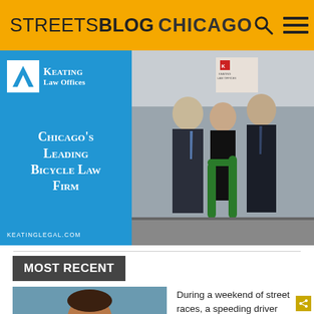STREETSBLOG CHICAGO
[Figure (photo): Keating Law Offices advertisement banner showing three lawyers standing outside their office next to a green bike rack. Left side has blue background with firm name and tagline 'Chicago's Leading Bicycle Law Firm' and URL keatinglegal.com]
MOST RECENT
[Figure (photo): Thumbnail photo of a person wearing sunglasses outdoors near water]
During a weekend of street races, a speeding driver killed Shawman Meireis, 40, on foot